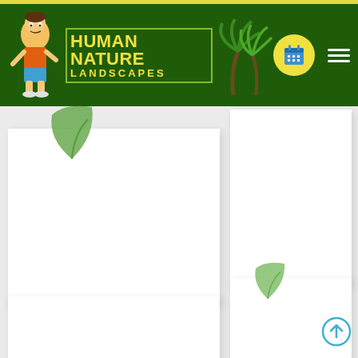[Figure (logo): Human Nature Landscapes company logo with cartoon man character, palm trees, yellow text on dark green background, calendar icon button, and hamburger menu]
[Figure (other): White content cards with green leaf icons on light gray background, scroll-to-top circular arrow button in bottom right]